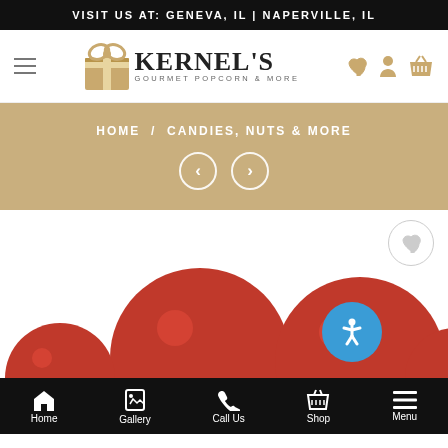VISIT US AT: GENEVA, IL | NAPERVILLE, IL
[Figure (logo): Kernel's Gourmet Popcorn & More logo with gift box icon]
HOME / CANDIES, NUTS & MORE
[Figure (screenshot): Red candy balls product image with accessibility button and wishlist circle]
Home | Gallery | Call Us | Shop | Menu